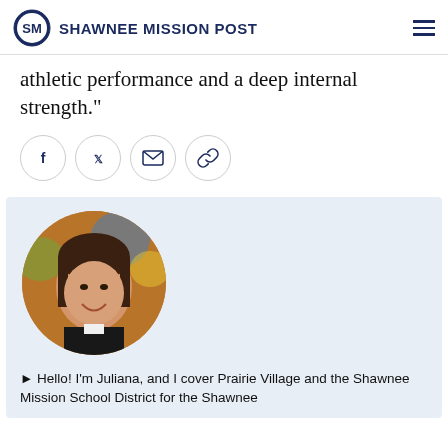SHAWNEE MISSION POST
athletic performance and a deep internal strength.”
[Figure (infographic): Social sharing icons: Facebook, Twitter, Email, Link]
[Figure (photo): Circular portrait photo of Juliana, smiling woman with dark hair]
► Hello! I’m Juliana, and I cover Prairie Village and the Shawnee Mission School District for the Shawnee